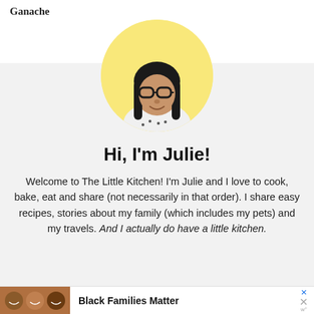Ganache
[Figure (photo): Circular profile photo of Julie, a woman with long dark hair and thick-framed glasses, wearing a white patterned blouse, against a yellow circular background]
Hi, I'm Julie!
Welcome to The Little Kitchen! I'm Julie and I love to cook, bake, eat and share (not necessarily in that order). I share easy recipes, stories about my family (which includes my pets) and my travels. And I actually do have a little kitchen.
[Figure (photo): Advertisement banner: photo of smiling people on the left, with text 'Black Families Matter' and close/dismiss icons on the right]